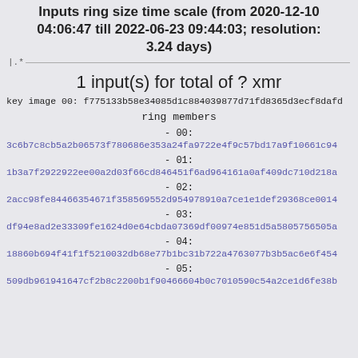Inputs ring size time scale (from 2020-12-10 04:06:47 till 2022-06-23 09:44:03; resolution: 3.24 days)
1 input(s) for total of ? xmr
key image 00: f775133b58e34085d1c884039877d71fd8365d3ecf8dafd...
ring members
- 00:
3c6b7c8cb5a2b06573f780686e353a24fa9722e4f9c57bd17a9f10661c94...
- 01:
1b3a7f2922922ee00a2d03f66cd846451f6ad964161a0af409dc710d218a...
- 02:
2acc98fe84466354671f358569552d954978910a7ce1e1def29368ce0014...
- 03:
df94e8ad2e33309fe1624d0e64cbda07369df00974e851d5a5805756505a...
- 04:
18860b694f41f1f5210032db68e77b1bc31b722a4763077b3b5ac6e6f454...
- 05:
509db961941647cf2b8c2200b1f90466604b0c7010590c54a2ce1d6fe38b...